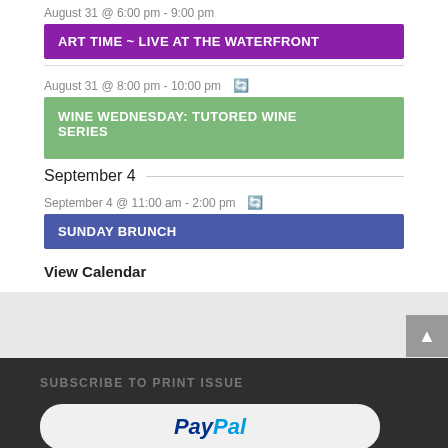August 31 @ 6:00 pm - 9:00 pm
ART TIME ~ LIVE AT THE WATERFRONT
August 31 @ 8:00 pm - 10:00 pm ↻
WINE WEDNESDAY: TUTORED WINE SERIES
September 4
September 4 @ 11:00 am - 2:00 pm ↻
SUNDAY BRUNCH
View Calendar
SUBSCRIBE TO PRINT ISSUE
[Figure (logo): PayPal logo button on light background]